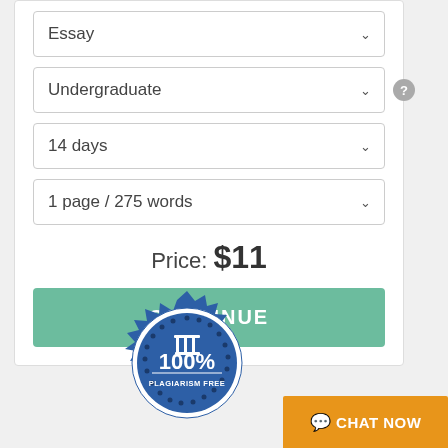Essay (dropdown)
Undergraduate (dropdown with help icon)
14 days (dropdown)
1 page / 275 words (dropdown)
Price: $11
CONTINUE
[Figure (illustration): 100% Plagiarism Free badge - blue starburst seal with pillared building icon and text '100% PLAGIARISM FREE']
CHAT NOW